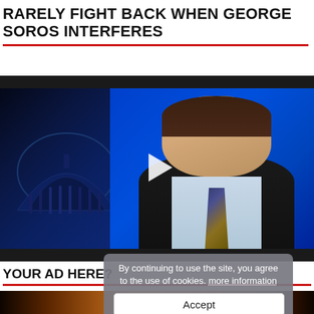RARELY FIGHT BACK WHEN GEORGE SOROS INTERFERES
[Figure (screenshot): Video thumbnail showing a news anchor man in a suit and tie against a blue studio background with US Capitol dome visible on the left. White play button triangle centered on the video. Dark bars at top and bottom of video frame.]
YOUR AD HERE?
[Figure (photo): Bottom strip of a night city street scene with warm orange/brown tones]
By continuing to use the site, you agree to the use of cookies. more information
Accept